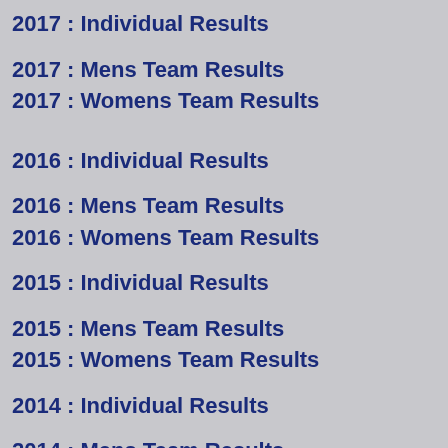2017 : Individual Results
2017 : Mens Team Results
2017 : Womens Team Results
2016 : Individual Results
2016 : Mens Team Results
2016 : Womens Team Results
2015 : Individual Results
2015 : Mens Team Results
2015 : Womens Team Results
2014 : Individual Results
2014 : Mens Team Results